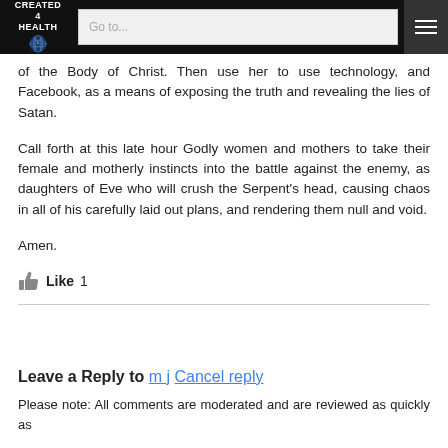CREATED 4 HEALTH | Go to...
of the Body of Christ. Then use her to use technology, and Facebook, as a means of exposing the truth and revealing the lies of Satan.
Call forth at this late hour Godly women and mothers to take their female and motherly instincts into the battle against the enemy, as daughters of Eve who will crush the Serpent's head, causing chaos in all of his carefully laid out plans, and rendering them null and void.
Amen.
Like  1
Leave a Reply to m j Cancel reply
Please note: All comments are moderated and are reviewed as quickly as